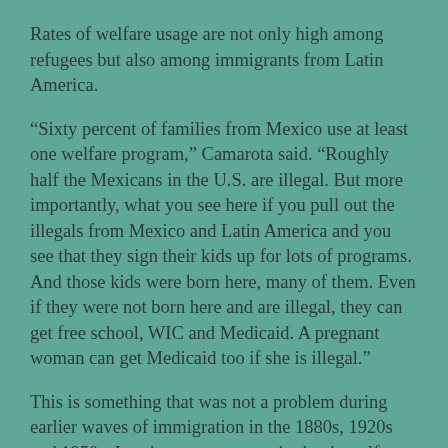Rates of welfare usage are not only high among refugees but also among immigrants from Latin America.
“Sixty percent of families from Mexico use at least one welfare program,” Camarota said. “Roughly half the Mexicans in the U.S. are illegal. But more importantly, what you see here if you pull out the illegals from Mexico and Latin America and you see that they sign their kids up for lots of programs. And those kids were born here, many of them. Even if they were not born here and are illegal, they can get free school, WIC and Medicaid. A pregnant woman can get Medicaid too if she is illegal.”
This is something that was not a problem during earlier waves of immigration in the 1880s, 1920s and 1950s. Immigrants were required to be self-supporting.